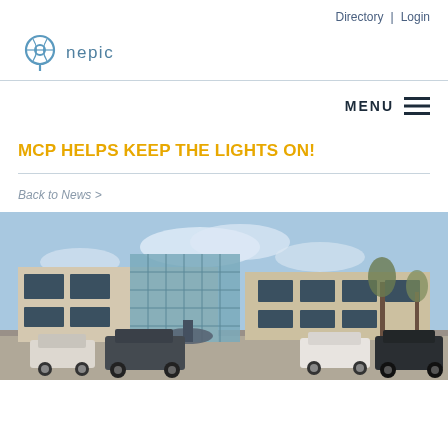Directory | Login
[Figure (logo): NEPIC logo with stylized pin/location icon in blue and teal]
MENU ☰
MCP HELPS KEEP THE LIGHTS ON!
Back to News >
[Figure (photo): Exterior photograph of a modern commercial office building with large glass facade, parked cars in the foreground, and trees visible, taken during daytime with blue sky]